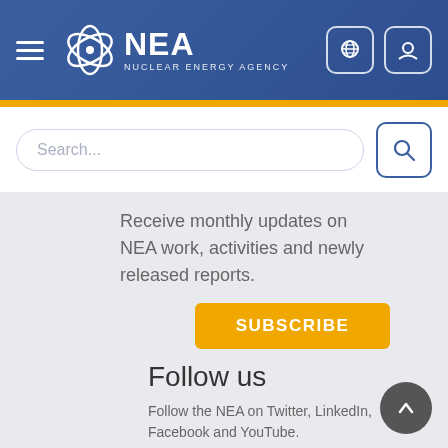[Figure (logo): NEA Nuclear Energy Agency logo and navigation header with hamburger menu, globe icon, and user icon]
[Figure (screenshot): Search bar with rounded input field and search button]
Receive monthly updates on NEA work, activities and newly released reports.
SUBSCRIBE
Follow us
Follow the NEA on Twitter, LinkedIn, Facebook and YouTube.
[Figure (illustration): Social media icons: Twitter (blue bird), LinkedIn (blue square with in), Facebook (blue square with f), YouTube (red rounded rectangle with You Tube text)]